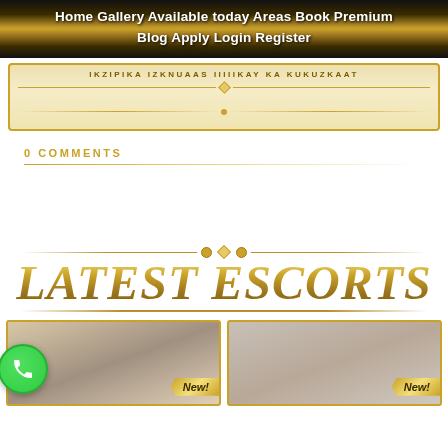Home Gallery Available today Areas Book Premium Blog Apply Login Register
[Figure (other): Ornate banner with decorative gold border and faded Tagalog/Filipino text: IKZIPIKA IZKNUAAS IIIIIKAY KA KUKUZKAAT]
0 COMMENTS
LATEST ESCORTS
[Figure (photo): Two escort thumbnail photos side by side, each with a gold border and 'New!' badge in bottom right corner. A green phone button overlays the left thumbnail.]